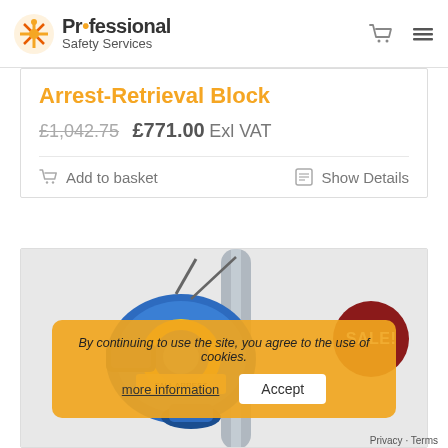Professional Safety Services
Arrest-Retrieval Block
£1,042.75  £771.00 Exl VAT
Add to basket   Show Details
[Figure (photo): Blue fall arrest retrieval block device on a pole, with SALE! badge in dark red circle overlaid on top right]
By continuing to use the site, you agree to the use of cookies.
more information   Accept
Privacy · Terms